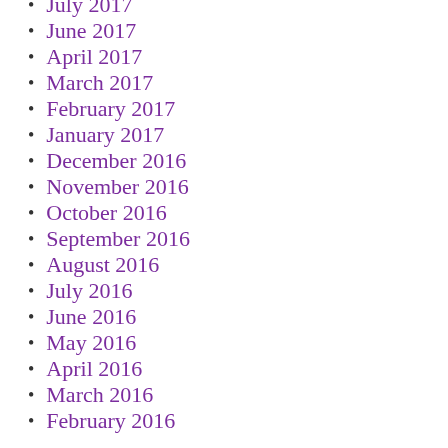July 2017
June 2017
April 2017
March 2017
February 2017
January 2017
December 2016
November 2016
October 2016
September 2016
August 2016
July 2016
June 2016
May 2016
April 2016
March 2016
February 2016